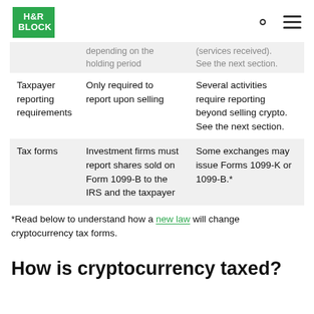H&R BLOCK
| Category | Stocks | Cryptocurrency |
| --- | --- | --- |
|  | depending on the holding period | (services received). See the next section. |
| Taxpayer reporting requirements | Only required to report upon selling | Several activities require reporting beyond selling crypto. See the next section. |
| Tax forms | Investment firms must report shares sold on Form 1099-B to the IRS and the taxpayer | Some exchanges may issue Forms 1099-K or 1099-B.* |
*Read below to understand how a new law will change cryptocurrency tax forms.
How is cryptocurrency taxed?